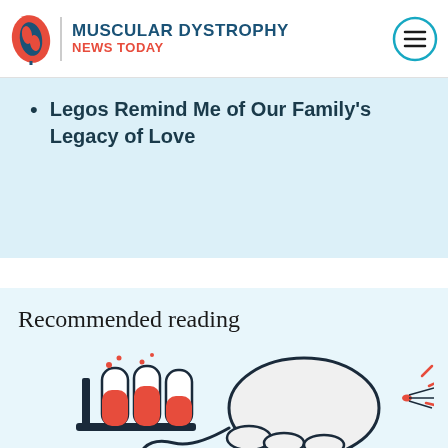MUSCULAR DYSTROPHY NEWS TODAY
Legos Remind Me of Our Family's Legacy of Love
Recommended reading
[Figure (illustration): Illustration of a white lab mouse/rat next to red liquid-filled test tubes in a rack, drawn in a cartoon style with red and dark navy ink on a light blue background]